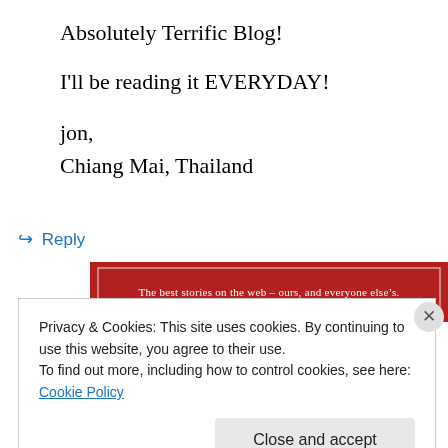Absolutely Terrific Blog!
I'll be reading it EVERYDAY!
jon,
Chiang Mai, Thailand
↪ Reply
[Figure (other): Red advertisement banner reading: The best stories on the web – ours, and everyone else's.]
REPORT THIS AD
Privacy & Cookies: This site uses cookies. By continuing to use this website, you agree to their use.
To find out more, including how to control cookies, see here: Cookie Policy
Close and accept